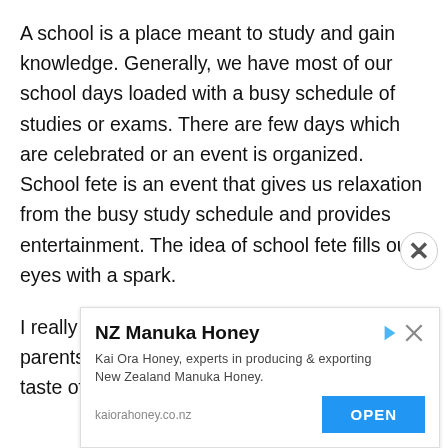A school is a place meant to study and gain knowledge. Generally, we have most of our school days loaded with a busy schedule of studies or exams. There are few days which are celebrated or an event is organized. School fete is an event that gives us relaxation from the busy study schedule and provides entertainment. The idea of school fete fills our eyes with a spark.
I really enjoy this day with my friends and parents. We play many games and enjoy the taste of a
[Figure (other): Advertisement banner for NZ Manuka Honey by Kai Ora Honey. Title: 'NZ Manuka Honey'. Description: 'Kai Ora Honey, experts in producing & exporting New Zealand Manuka Honey.' URL: kaiorahoney.co.nz. Open button in blue.]